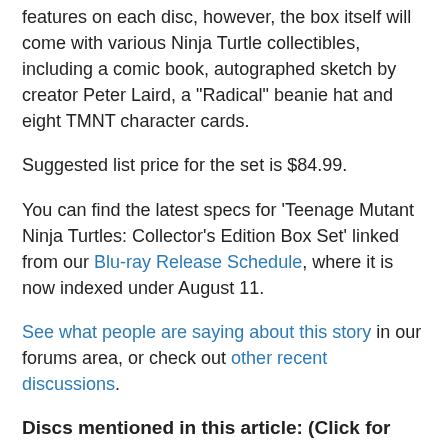features on each disc, however, the box itself will come with various Ninja Turtle collectibles, including a comic book, autographed sketch by creator Peter Laird, a "Radical" beanie hat and eight TMNT character cards.
Suggested list price for the set is $84.99.
You can find the latest specs for 'Teenage Mutant Ninja Turtles: Collector's Edition Box Set' linked from our Blu-ray Release Schedule, where it is now indexed under August 11.
See what people are saying about this story in our forums area, or check out other recent discussions.
Discs mentioned in this article: (Click for specs and reviews)